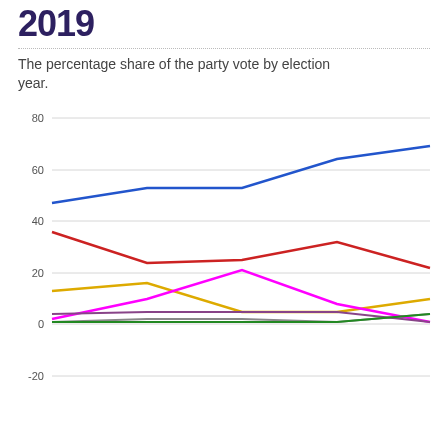2019
The percentage share of the party vote by election year.
[Figure (line-chart): Multi-series line chart showing percentage share of the party vote by election year. Lines include blue (rising from ~47 to ~69), red (starting ~36, dipping to ~24, rising to ~32, falling to ~22), yellow (starting ~13, peaking ~16, falling to ~5, rising to ~10), magenta/pink (starting low, peaking ~21, falling near 0), gray (near 0 throughout), purple (near 0), green (rising near end). Y-axis shows values from -20 to 80.]